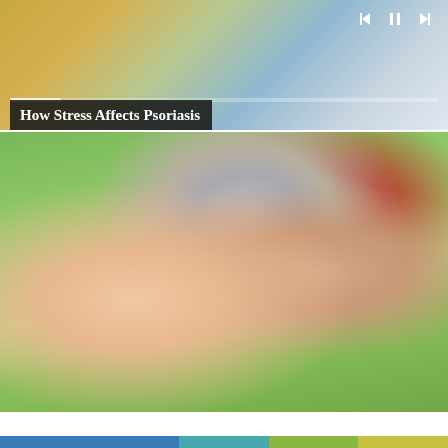[Figure (screenshot): Video thumbnail showing a person with a skin condition. Title bar reads 'How Stress Affects Psoriasis'. Media player controls visible at top right with a progress bar.]
[Figure (photo): Close-up photo of hands applying cream from a silver tube onto an open palm, set against a green outdoor background. Related to psoriasis treatment.]
Privacy & Cookies: This site uses cookies. By continuing to use this website, you agree to their use.
To find out more, including how to control cookies, see here: Cookie Policy
Close and accept